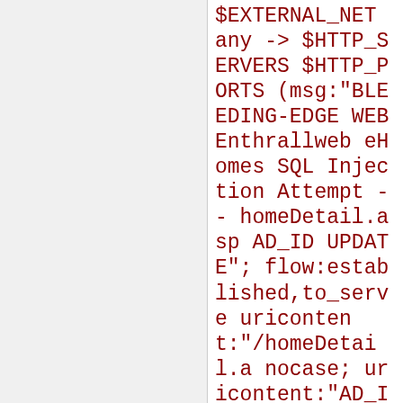$EXTERNAL_NET any -> $HTTP_SERVERS $HTTP_PORTS (msg:"BLEEDING-EDGE WEB Enthrallweb eHomes SQL Injection Attempt -- homeDetail.asp AD_ID UPDATE"; flow:established,to_server; uricontent:"/homeDetail.asp"; nocase; uricontent:"AD_ID="; nocase; uricontent:"UPDATE"; nocase; pcre:"/.+UPDATE.+SET/U; classtype:web-application-attack; reference:cve,CVE-2006-6204;